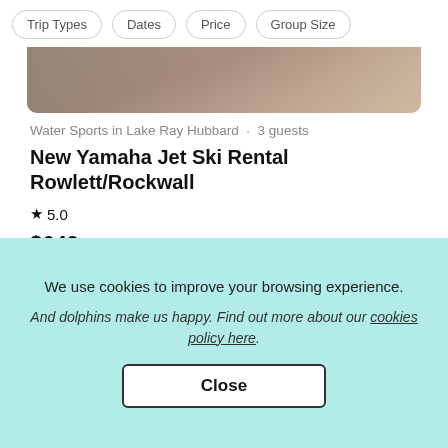Trip Types | Dates | Price | Group Size
[Figure (photo): Top portion of a water sports rental listing photo showing pavement/dock area]
Water Sports in Lake Ray Hubbard · 3 guests
New Yamaha Jet Ski Rental Rowlett/Rockwall
★ 5.0
$649 day
[Figure (photo): Bottom listing photo showing a white boat interior/cockpit]
We use cookies to improve your browsing experience.
And dolphins make us happy. Find out more about our cookies policy here.